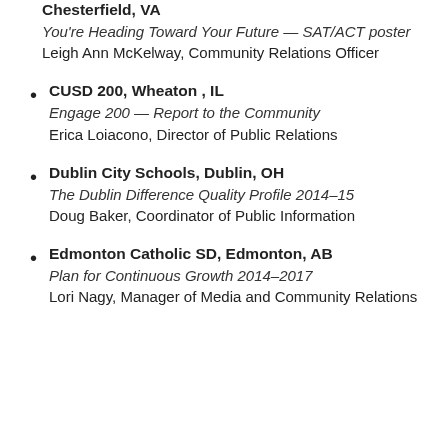Chesterfield, VA
You're Heading Toward Your Future — SAT/ACT poster
Leigh Ann McKelway, Community Relations Officer
CUSD 200, Wheaton , IL
Engage 200 — Report to the Community
Erica Loiacono, Director of Public Relations
Dublin City Schools, Dublin, OH
The Dublin Difference Quality Profile 2014–15
Doug Baker, Coordinator of Public Information
Edmonton Catholic SD, Edmonton, AB
Plan for Continuous Growth 2014–2017
Lori Nagy, Manager of Media and Community Relations